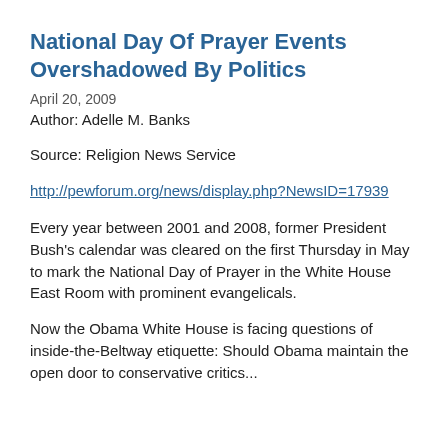National Day Of Prayer Events Overshadowed By Politics
April 20, 2009
Author: Adelle M. Banks
Source: Religion News Service
http://pewforum.org/news/display.php?NewsID=17939
Every year between 2001 and 2008, former President Bush's calendar was cleared on the first Thursday in May to mark the National Day of Prayer in the White House East Room with prominent evangelicals.
Now the Obama White House is facing questions of inside-the-Beltway etiquette: Should Obama maintain the open door to conservative critics...